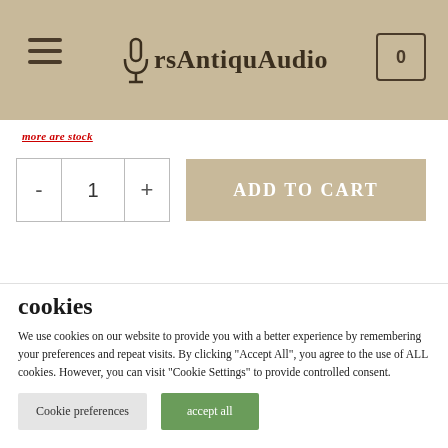ArsAntiquAudio
more are stock
[Figure (other): Quantity selector with minus, 1, plus buttons and Add to Cart button]
cookies
We use cookies on our website to provide you with a better experience by remembering your preferences and repeat visits. By clicking "Accept All", you agree to the use of ALL cookies. However, you can visit "Cookie Settings" to provide controlled consent.
Cookie preferences  accept all